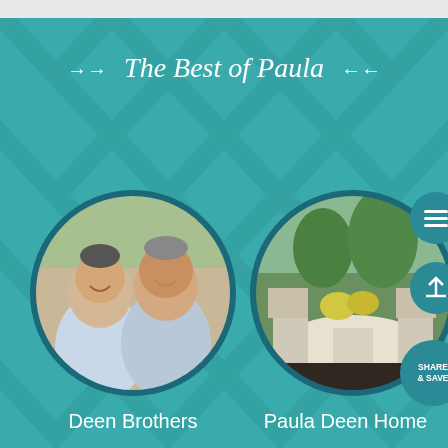The Best of Paula
[Figure (photo): Circular photo of two men smiling (Deen Brothers) against teal chevron background]
Deen Brothers
[Figure (photo): Circular photo of an outdoor patio dining table setting with white chairs and yellow flowers (Paula Deen Home)]
Paula Deen Home